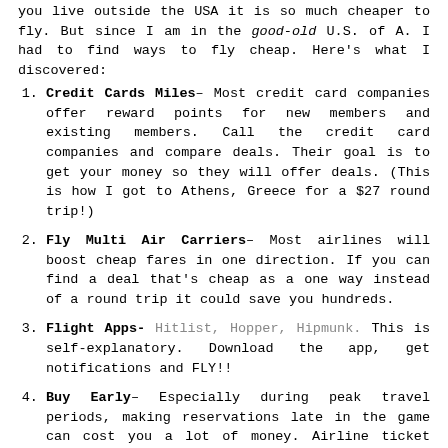you live outside the USA it is so much cheaper to fly. But since I am in the good-old U.S. of A. I had to find ways to fly cheap. Here's what I discovered:
Credit Cards Miles– Most credit card companies offer reward points for new members and existing members. Call the credit card companies and compare deals. Their goal is to get your money so they will offer deals. (This is how I got to Athens, Greece for a $27 round trip!)
Fly Multi Air Carriers– Most airlines will boost cheap fares in one direction. If you can find a deal that's cheap as a one way instead of a round trip it could save you hundreds.
Flight Apps- Hitlist, Hopper, Hipmunk. This is self-explanatory. Download the app, get notifications and FLY!!
Buy Early– Especially during peak travel periods, making reservations late in the game can cost you a lot of money. Airline ticket prices typically go up in the last two weeks before flying, so if you're planning, try to make the call before this deadline. And if you're traveling internationally,